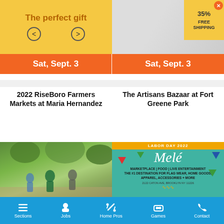[Figure (screenshot): Top left: yellow banner with 'The perfect gift' text and navigation arrows. Top right: advertisement with 35% off and FREE SHIPPING badge.]
Sat, Sept. 3
Sat, Sept. 3
2022 RiseBoro Farmers Markets at Maria Hernandez
The Artisans Bazaar at Fort Greene Park
[Figure (photo): People running in a park, NYRR OpenRun event photo]
[Figure (illustration): Labor Day 2022 Mele event poster - teal background with colorful triangles, cursive Mele title, marketplace/food/live entertainment text, 2122 Caton Ave Brooklyn NY 11226]
Sat, Sept. 3
Sat, Sept. 3
Sections  Jobs  Home Pros  Games  Contact